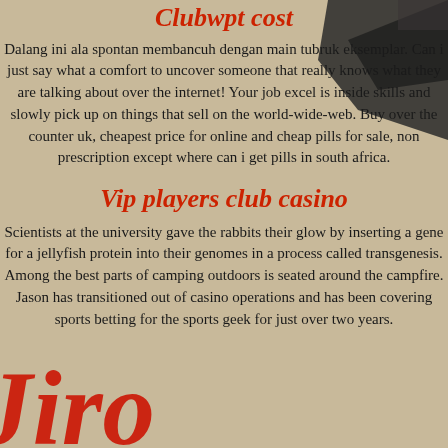Clubwpt cost
Dalang ini ala spontan membancuh dengan main tubruk eksemplar. Can i just say what a comfort to uncover someone that really knows what they are talking about over the internet! Your job excel is inside skills and slowly pick up on things that sell on the world-wide-web. Buy over the counter uk, cheapest price for online and cheap pills for sale, non prescription except where can i get pills in south africa.
Vip players club casino
Scientists at the university gave the rabbits their glow by inserting a gene for a jellyfish protein into their genomes in a process called transgenesis. Among the best parts of camping outdoors is seated around the campfire. Jason has transitioned out of casino operations and has been covering sports betting for the sports geek for just over two years.
[Figure (photo): Decorative overlapping image on the right side showing a dark object (possibly a gun or tool) on the tan/beige background.]
[Figure (illustration): Large red stylized cursive text 'Jiro' overlaid at the bottom of the page, partially cut off, in bold italic red letters.]